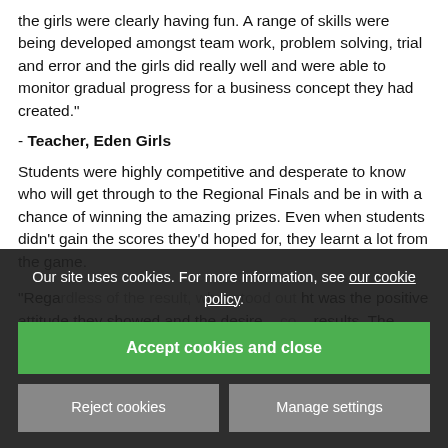the girls were clearly having fun. A range of skills were being developed amongst team work, problem solving, trial and error and the girls did really well and were able to monitor gradual progress for a business concept they had created."
- Teacher, Eden Girls
Students were highly competitive and desperate to know who will get through to the Regional Finals and be in with a chance of winning the amazing prizes. Even when students didn't gain the scores they'd hoped for, they learnt a lot from the game.
"Rega... ht was the positive attitude they showed and the desire... co... results. The future seems in good hands!!" -
Our site uses cookies. For more information, see our cookie policy.